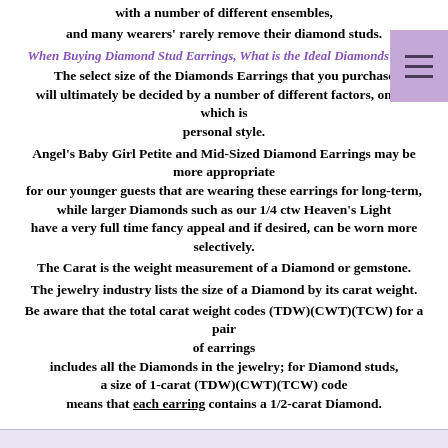with a number of different ensembles,
and many wearers' rarely remove their diamond studs.
When Buying Diamond Stud Earrings, What is the Ideal Diamonds Size?
The select size of the Diamonds Earrings that you purchase will ultimately be decided by a number of different factors, one of which is personal style.
Angel's Baby Girl Petite and Mid-Sized Diamond Earrings may be more appropriate for our younger guests that are wearing these earrings for long-term, while larger Diamonds such as our 1/4 ctw Heaven's Light have a very full time fancy appeal and if desired, can be worn more selectively.
The Carat is the weight measurement of a Diamond or gemstone.
The jewelry industry lists the size of a Diamond by its carat weight.
Be aware that the total carat weight codes (TDW)(CWT)(TCW) for a pair of earrings includes all the Diamonds in the jewelry; for Diamond studs, a size of 1-carat (TDW)(CWT)(TCW) code means that each earring contains a 1/2-carat Diamond.